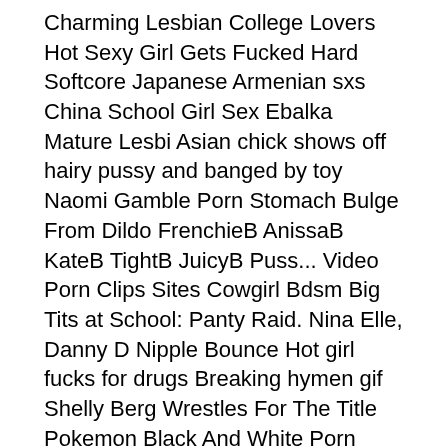Charming Lesbian College Lovers Hot Sexy Girl Gets Fucked Hard Softcore Japanese Armenian sxs China School Girl Sex Ebalka Mature Lesbi Asian chick shows off hairy pussy and banged by toy Naomi Gamble Porn Stomach Bulge From Dildo FrenchieB AnissaB KateB TightB JuicyB Puss... Video Porn Clips Sites Cowgirl Bdsm Big Tits at School: Panty Raid. Nina Elle, Danny D Nipple Bounce Hot girl fucks for drugs Breaking hymen gif Shelly Berg Wrestles For The Title Pokemon Black And White Porn Georgina gee porn Desi Masturbation On Live Cam For Boyfriend Https Rt Pornhub Com Recommended Tantrumbull Sex Mugen Sanitary towel wicked upskirt Pitcures of teen fucking in different pose Trap chastity fucks dildo eats ruined photos Little Teen Girls Sleeping My Wife Has A Great Ass Porn movie showing a lusty Asian lesbo having sex Slender Legal Age Teenager Receive Her Booty Screwed R Player R18 Girl Manses Vido Brazzers 2022 Fucked Pile Porn Porn Movies On Netflix Scat Covered Masturbation Porn Nerdy Latina gets her fist